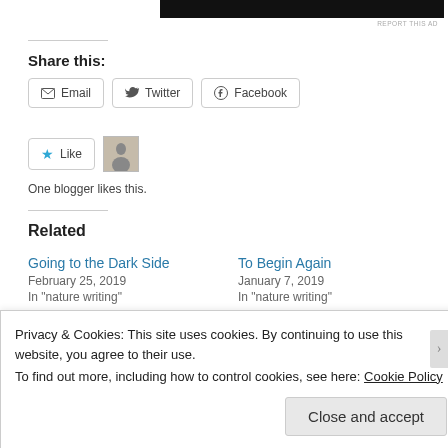[Figure (other): Black banner image at top of page (advertisement area)]
REPORT THIS AD
Share this:
Email  Twitter  Facebook
Like  [avatar]
One blogger likes this.
Related
Going to the Dark Side
February 25, 2019
In "nature writing"
To Begin Again
January 7, 2019
In "nature writing"
Privacy & Cookies: This site uses cookies. By continuing to use this website, you agree to their use.
To find out more, including how to control cookies, see here: Cookie Policy
Close and accept